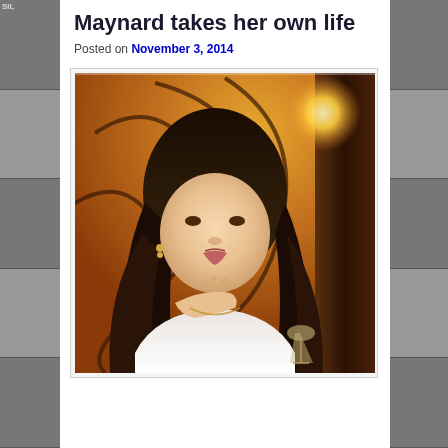Maynard takes her own life
Posted on November 3, 2014
[Figure (photo): A young woman with long dark hair making a kissing gesture, seated at what appears to be a restaurant, with a warm amber/orange background, decorative swirl patterns visible, and a wine glass in the lower right.]